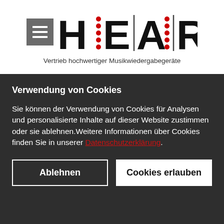[Figure (logo): HEAR logo with hamburger menu icon, stylized letters H, E, A, R with red dots and vertical lines between them, and tagline below]
Vertrieb hochwertiger Musikwiedergabegeräte
Verwendung von Cookies
Sie können der Verwendung von Cookies für Analysen und personalisierte Inhalte auf dieser Website zustimmen oder sie ablehnen.Weitere Informationen über Cookies finden Sie in unserer Datenschutzerklärung.
Ablehnen
Cookies erlauben